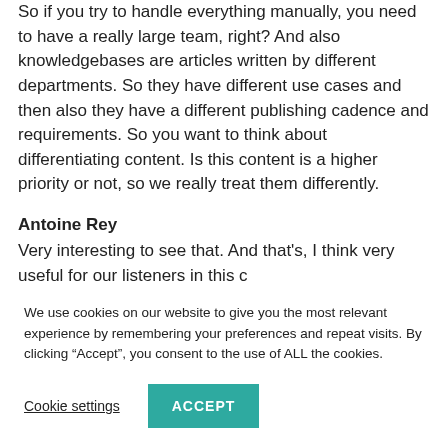So if you try to handle everything manually, you need to have a really large team, right? And also knowledgebases are articles written by different departments. So they have different use cases and then also they have a different publishing cadence and requirements. So you want to think about differentiating content. Is this content is a higher priority or not, so we really treat them differently.
Antoine Rey
Very interesting to see that. And that's, I think very useful for our listeners in this case that are getting a lot of them...
We use cookies on our website to give you the most relevant experience by remembering your preferences and repeat visits. By clicking "Accept", you consent to the use of ALL the cookies.